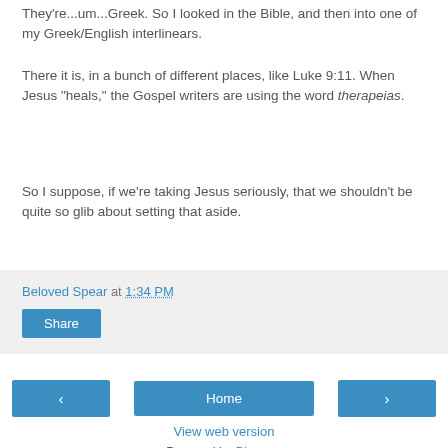They're...um...Greek. So I looked in the Bible, and then into one of my Greek/English interlinears.
There it is, in a bunch of different places, like Luke 9:11. When Jesus "heals," the Gospel writers are using the word therapeias.
So I suppose, if we're taking Jesus seriously, that we shouldn't be quite so glib about setting that aside.
Beloved Spear at 1:34 PM
Share
‹
Home
›
View web version
Powered by Blogger.